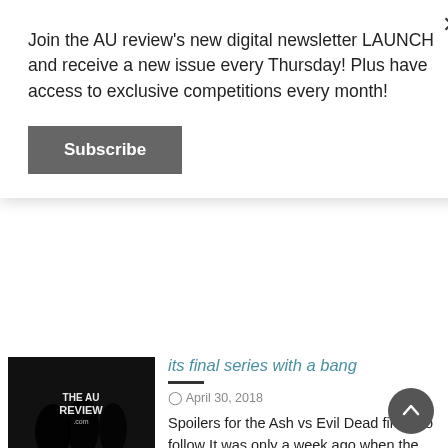Join the AU review's new digital newsletter LAUNCH and receive a new issue every Thursday! Plus have access to exclusive competitions every month!
Subscribe
its final series with a bang
April 30, 2018
Spoilers for the Ash vs Evil Dead finale to follow It was only a week ago when the news dropped that the beloved The Evil Dead (1981) followup series Ash vs Evil Dead would not be returning for a season 4 and this season 3 finale all of a sudden became the series finale. As heartbreaking as [...]
READ MORE